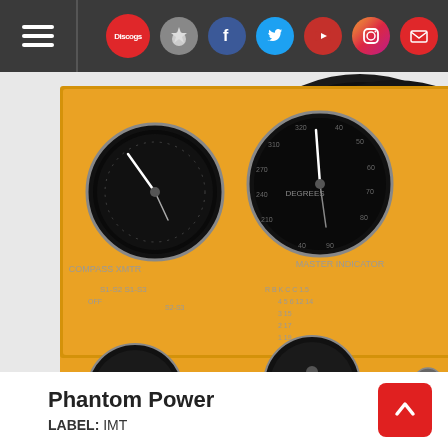Navigation header with hamburger menu and social icons: Discogs, medal, Facebook, Twitter, YouTube, Instagram, mail
[Figure (photo): Album cover for 'Phantom Power' by The Tragically Hip showing a yellow aviation instrument panel with dials and a vinyl record behind it]
Phantom Power
LABEL: IMT